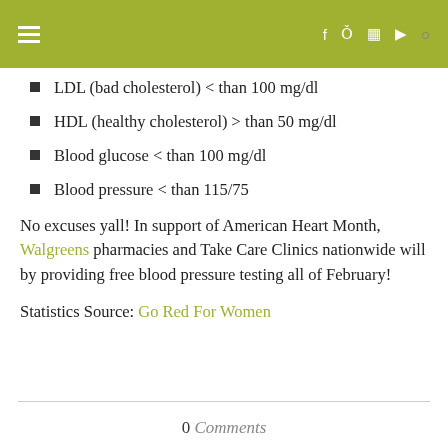navigation bar with hamburger menu and social icons
LDL (bad cholesterol) < than 100 mg/dl
HDL (healthy cholesterol) > than 50 mg/dl
Blood glucose < than 100 mg/dl
Blood pressure < than 115/75
No excuses yall! In support of American Heart Month, Walgreens pharmacies and Take Care Clinics nationwide will by providing free blood pressure testing all of February!
Statistics Source: Go Red For Women
0 Comments